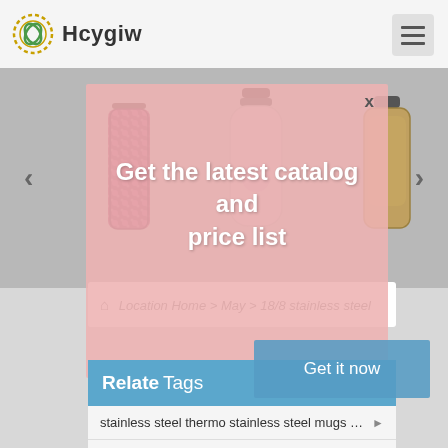Hcygiw
[Figure (screenshot): Website banner showing three water bottles/tumblers on a gray background with navigation arrows]
[Figure (infographic): Pink popup overlay with text: Get the latest catalog and price list]
Location Home > May > 18/8 stainless steel
Relate Tags
stainless steel thermo stainless steel mugs ...
stainless steel pet dog food water bowls ne..
insulated coffee cup tumbler in slovenia
30oz tumbler cup insulated in nigeria